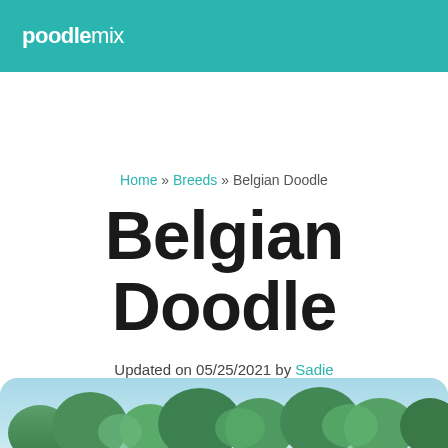poodlemix
Home » Breeds » Belgian Doodle
Belgian Doodle
Updated on 05/25/2021 by Sadie
[Figure (photo): Partial photo of a dog outdoors with trees and sky visible, shown at bottom of page with rounded top corners]